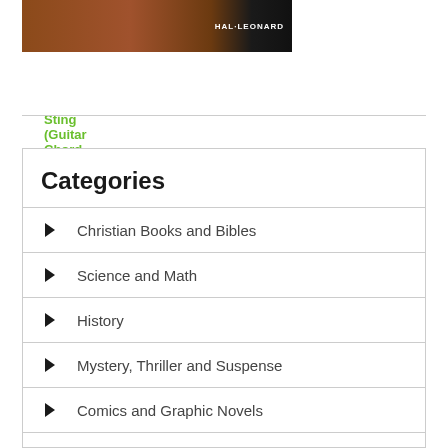[Figure (photo): Book cover image with orange/brown gradient and HAL LEONARD text on the right]
Sting (Guitar Chord Songbooks) pdf
Categories
Christian Books and Bibles
Science and Math
History
Mystery, Thriller and Suspense
Comics and Graphic Novels
Textbooks
Medical Books